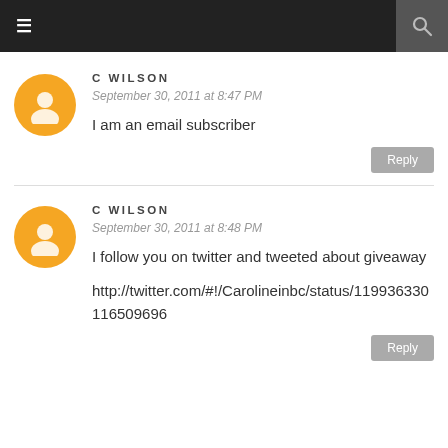≡  🔍
C WILSON
September 30, 2011 at 8:47 PM
I am an email subscriber
Reply
C WILSON
September 30, 2011 at 8:48 PM
I follow you on twitter and tweeted about giveaway
http://twitter.com/#!/Carolineinbc/status/119936330116509696
Reply